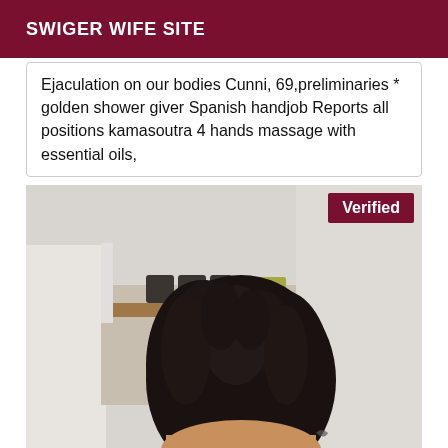SWIGER WIFE SITE
Ejaculation on our bodies Cunni, 69,preliminaries * golden shower giver Spanish handjob Reports all positions kamasoutra 4 hands massage with essential oils,
[Figure (photo): Photo of a woman with long curly black hair seen from behind, indoors with white walls and wooden shelf visible. A dark red 'Verified' badge appears in the top-right corner.]